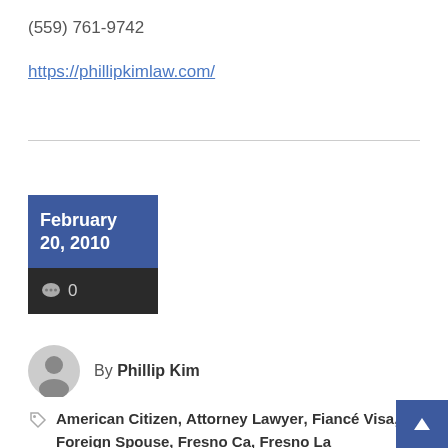(559) 761-9742
https://phillipkimlaw.com/
[Figure (infographic): Date box showing February 20, 2010 with comment count 0]
By Phillip Kim
American Citizen, Attorney Lawyer, Fiancé Visa, Foreign Spouse, Fresno Ca, Fresno La… Green Card, Immigrant Petition, Immigran…